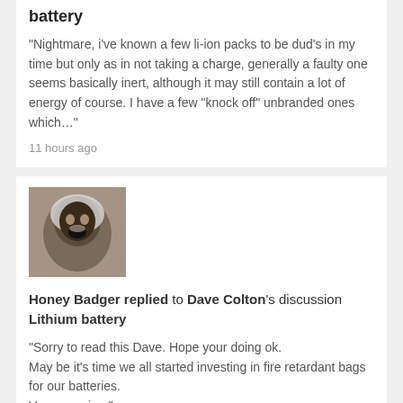battery
"Nightmare, i've known a few li-ion packs to be dud's in my time but only as in not taking a charge, generally a faulty one seems basically inert, although it may still contain a lot of energy of course. I have a few "knock off" unbranded ones which…"
11 hours ago
[Figure (photo): Avatar photo of Honey Badger showing a monkey/animal with mouth open, wearing a hood, vintage-tinted]
Honey Badger replied to Dave Colton's discussion Lithium battery
"Sorry to read this Dave. Hope your doing ok.
May be it's time we all started investing in fire retardant bags for our batteries.
Very worrying."
12 hours ago
[Figure (photo): Avatar photo partially visible at bottom, outdoor scene with PRO badge]